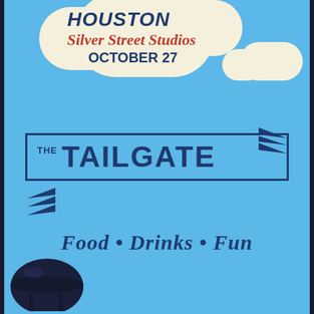[Figure (illustration): Event promotional flyer with sky blue background, cream cloud shapes at top, decorative chevron arrows, a rectangular banner with THE TAILGATE text, and a grill illustration at bottom-left.]
HOUSTON
Silver Street Studios
OCTOBER 27
THE TAILGATE
Food • Drinks • Fun